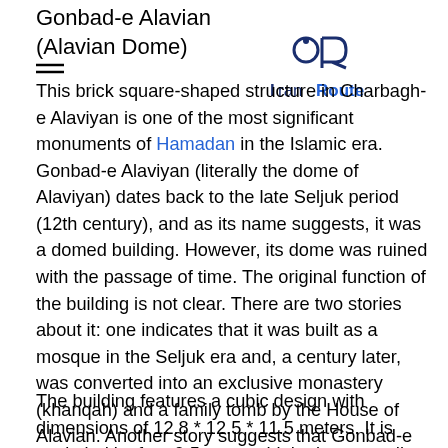Gonbad-e Alavian (Alavian Dome)
[Figure (logo): IranRoute logo with stylized 'iR' icon and text 'IranRoute' in blue and dark navy]
This brick square-shaped structure in Charbagh-e Alaviyan is one of the most significant monuments of Hamadan in the Islamic era. Gonbad-e Alaviyan (literally the dome of Alaviyan) dates back to the late Seljuk period (12th century), and as its name suggests, it was a domed building. However, its dome was ruined with the passage of time. The original function of the building is not clear. There are two stories about it: one indicates that it was built as a mosque in the Seljuk era and, a century later, was converted into an exclusive monastery (khanqah) and a family tomb by the House of Alavian. Another story suggests that Gonbad-e Alavian was originally built as the monastery of the Alaviyan family and later it was used as their burial place.
The building features a cubic design with dimensions of 12.8 * 12.5 * 11.5 meters. It is encircled by four 9.5-meters high piers, standing like four towers on each corner. Each